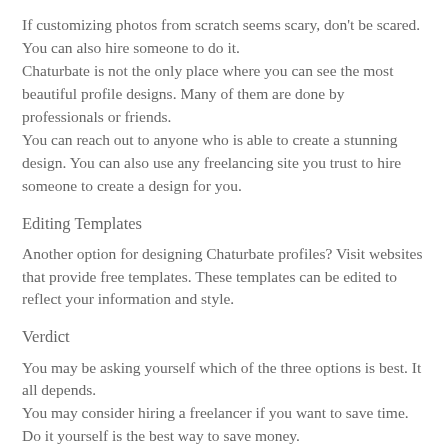If customizing photos from scratch seems scary, don't be scared. You can also hire someone to do it.
Chaturbate is not the only place where you can see the most beautiful profile designs. Many of them are done by professionals or friends.
You can reach out to anyone who is able to create a stunning design. You can also use any freelancing site you trust to hire someone to create a design for you.
Editing Templates
Another option for designing Chaturbate profiles? Visit websites that provide free templates. These templates can be edited to reflect your information and style.
Verdict
You may be asking yourself which of the three options is best. It all depends.
You may consider hiring a freelancer if you want to save time. Do it yourself is the best way to save money.
You can save time and money by using templates that are